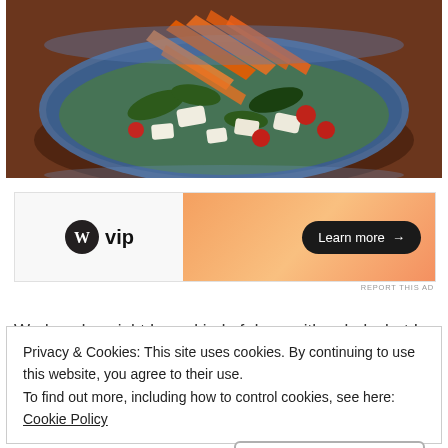[Figure (photo): A bowl of salad with shredded carrots, spinach leaves, cherry tomatoes, and white cheese chunks on a wooden surface]
[Figure (screenshot): WordPress VIP advertisement banner with orange gradient and Learn more button]
REPORT THIS AD
Wednesday night I was kind of done with salads, but I
Privacy & Cookies: This site uses cookies. By continuing to use this website, you agree to their use.
To find out more, including how to control cookies, see here: Cookie Policy
Close and accept